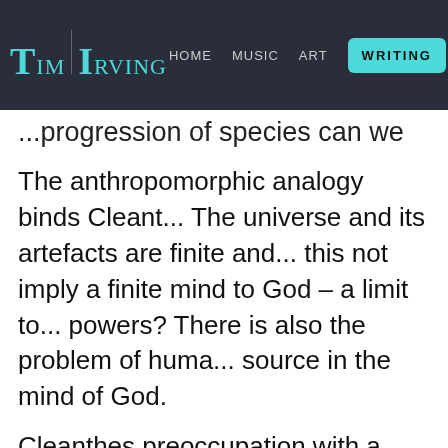Tim Irving — HOME | MUSIC | ART | WRITING
...progression of species can we hope to b...
The anthropomorphic analogy binds Cleant... The universe and its artefacts are finite and... this not imply a finite mind to God – a limit to... powers? There is also the problem of huma... source in the mind of God.
Cleanthes preoccupation with a mechanical... given the scientific knowledge of the day, to... arises spontaneously within matter itself. Hu... themselves in the mind to form a plan which... matter - as in the building of a house for exa... must also be delivered of a plan for the univ...